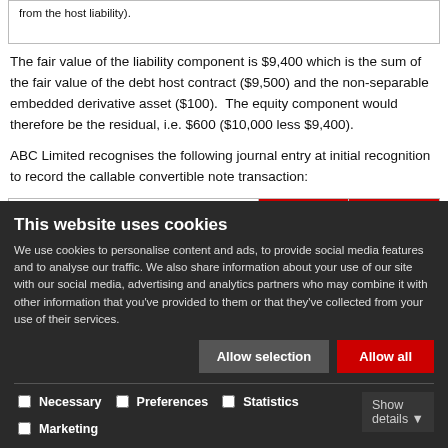from the host liability).
The fair value of the liability component is $9,400 which is the sum of the fair value of the debt host contract ($9,500) and the non-separable embedded derivative asset ($100).  The equity component would therefore be the residual, i.e. $600 ($10,000 less $9,400).
ABC Limited recognises the following journal entry at initial recognition to record the callable convertible note transaction:
|  | Dr | Cr |
| --- | --- | --- |
| Cash | $10,000 |  |
This website uses cookies
We use cookies to personalise content and ads, to provide social media features and to analyse our traffic. We also share information about your use of our site with our social media, advertising and analytics partners who may combine it with other information that you've provided to them or that they've collected from your use of their services.